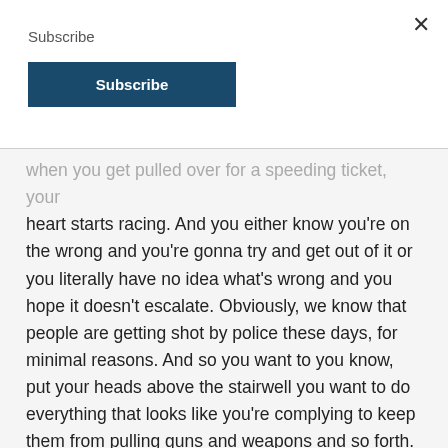Subscribe
Subscribe (button)
when you get pulled over for a speeding ticket, your heart starts racing. And you either know you're on the wrong and you're gonna try and get out of it or you literally have no idea what's wrong and you hope it doesn't escalate. Obviously, we know that people are getting shot by police these days, for minimal reasons. And so you want to you know, put your heads above the stairwell you want to do everything that looks like you're complying to keep them from pulling guns and weapons and so forth. It's just very challenging layer like you're describing, you know, they're saying, hey, it's 10 o'clock, two o'clock in the morning will knock on your door, we need you to sign this thing that